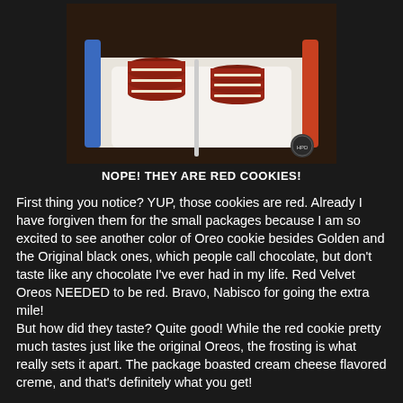[Figure (photo): A box of red Oreo cookies (Red Velvet variety) arranged in rows inside their packaging tray, showing the red-colored cookie wafers with cream filling visible between them.]
NOPE! THEY ARE RED COOKIES!
First thing you notice? YUP, those cookies are red. Already I have forgiven them for the small packages because I am so excited to see another color of Oreo cookie besides Golden and the Original black ones, which people call chocolate, but don't taste like any chocolate I've ever had in my life. Red Velvet Oreos NEEDED to be red. Bravo, Nabisco for going the extra mile!
But how did they taste? Quite good! While the red cookie pretty much tastes just like the original Oreos, the frosting is what really sets it apart. The package boasted cream cheese flavored creme, and that's definitely what you get!